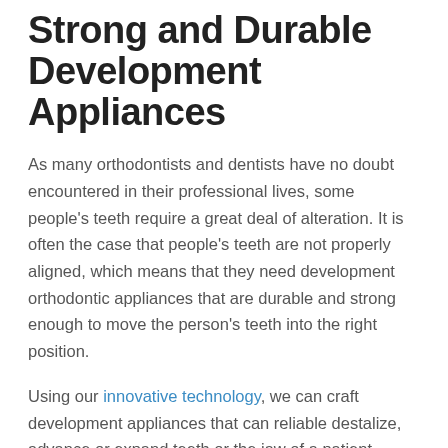Strong and Durable Development Appliances
As many orthodontists and dentists have no doubt encountered in their professional lives, some people’s teeth require a great deal of alteration. It is often the case that people’s teeth are not properly aligned, which means that they need development orthodontic appliances that are durable and strong enough to move the person’s teeth into the right position.
Using our innovative technology, we can craft development appliances that can reliable destalize, advance or expand teeth or the jaw of a patient.